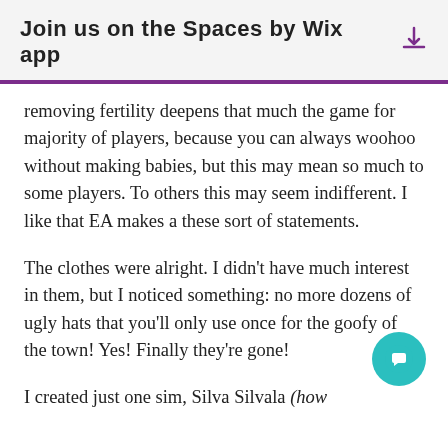Join us on the Spaces by Wix app
removing fertility deepens that much the game for majority of players, because you can always woohoo without making babies, but this may mean so much to some players. To others this may seem indifferent. I like that EA makes a these sort of statements.
The clothes were alright. I didn't have much interest in them, but I noticed something: no more dozens of ugly hats that you'll only use once for the goofy of the town! Yes! Finally they're gone!
I created just one sim, Silva Silvala (how